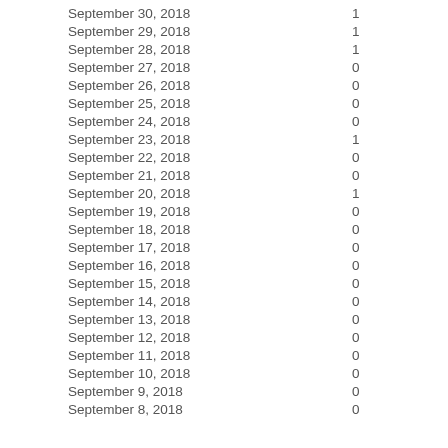| Date | Value |
| --- | --- |
| September 30, 2018 | 1 |
| September 29, 2018 | 1 |
| September 28, 2018 | 1 |
| September 27, 2018 | 0 |
| September 26, 2018 | 0 |
| September 25, 2018 | 0 |
| September 24, 2018 | 0 |
| September 23, 2018 | 1 |
| September 22, 2018 | 0 |
| September 21, 2018 | 0 |
| September 20, 2018 | 1 |
| September 19, 2018 | 0 |
| September 18, 2018 | 0 |
| September 17, 2018 | 0 |
| September 16, 2018 | 0 |
| September 15, 2018 | 0 |
| September 14, 2018 | 0 |
| September 13, 2018 | 0 |
| September 12, 2018 | 0 |
| September 11, 2018 | 0 |
| September 10, 2018 | 0 |
| September 9, 2018 | 0 |
| September 8, 2018 | 0 |